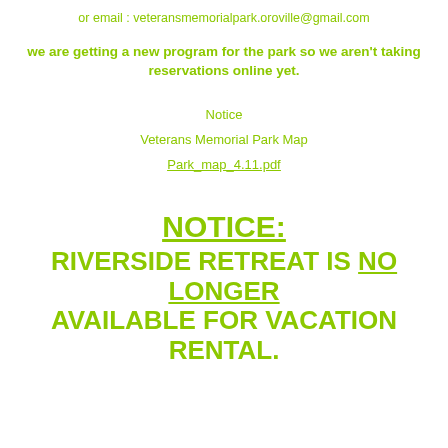or email : veteransmemorialpark.oroville@gmail.com
we are getting a new program for the park so we aren't taking reservations online yet.
Notice
Veterans Memorial Park Map
Park_map_4.11.pdf
NOTICE:
RIVERSIDE RETREAT IS NO LONGER AVAILABLE FOR VACATION RENTAL.